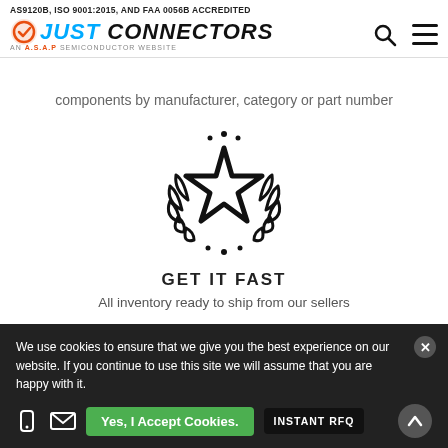AS9120B, ISO 9001:2015, AND FAA 0056B ACCREDITED
[Figure (logo): Just Connectors logo - An A.S.A.P Semiconductor Website]
components by manufacturer, category or part number
[Figure (illustration): Award/quality star with laurel wreath icon]
GET IT FAST
All inventory ready to ship from our sellers
[Figure (illustration): Delivery truck / forklift icon]
QUALITY GUARANTEED
We use cookies to ensure that we give you the best experience on our website. If you continue to use this site we will assume that you are happy with it.
Yes, I Accept Cookies.
INSTANT RFQ